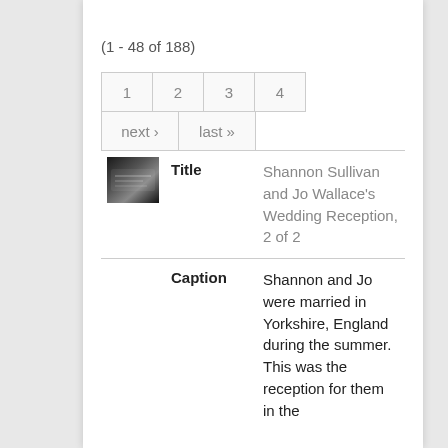(1 - 48 of 188)
1  2  3  4  next ›  last »
|  | Label | Value |
| --- | --- | --- |
| [thumbnail] | Title | Shannon Sullivan and Jo Wallace's Wedding Reception, 2 of 2 |
|  | Caption | Shannon and Jo were married in Yorkshire, England during the summer. This was the reception for them in the |